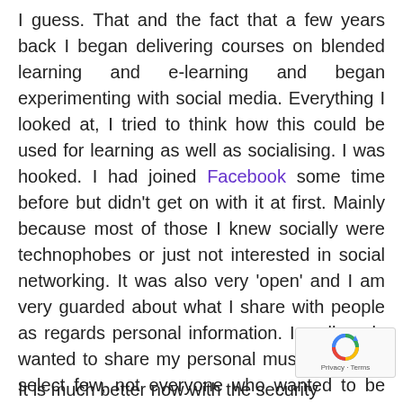I guess. That and the fact that a few years back I began delivering courses on blended learning and e-learning and began experimenting with social media. Everything I looked at, I tried to think how this could be used for learning as well as socialising. I was hooked. I had joined Facebook some time before but didn't get on with it at first. Mainly because most of those I knew socially were technophobes or just not interested in social networking. It was also very 'open' and I am very guarded about what I share with people as regards personal information. I really only wanted to share my personal musings with a select few, not everyone who wanted to be my 'friend'(creepy!).
It is much better now with the security